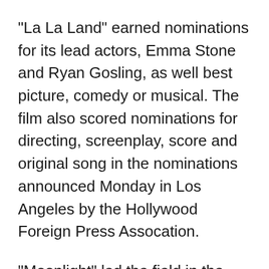"La La Land" earned nominations for its lead actors, Emma Stone and Ryan Gosling, as well best picture, comedy or musical. The film also scored nominations for directing, screenplay, score and original song in the nominations announced Monday in Los Angeles by the Hollywood Foreign Press Assocation.
"Moonlight" led the field in the dramatic categories, including best picture. It earned nods for Jenkins' directing and script, supporting actor favorite Mahershala Ali and supporting actress Naomie Harris.
The other nominees for best picture, drama, were "Manchester by the Sea," "Lion," "Hell or High Water" and Mel Gibson's "Hacksaw Ridge."
The Weinstein Co.'s "Lion," the story of an Indian boy